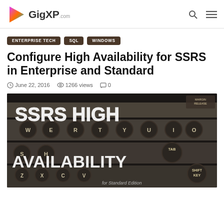GigXP.com
ENTERPRISE TECH
SQL
WINDOWS
Configure High Availability for SSRS in Enterprise and Standard
June 22, 2016   1266 views   0
[Figure (photo): Typewriter keyboard close-up with white painted text 'SSRS HIGH AVAILABILITY for Standard Edition' overlaid on top]